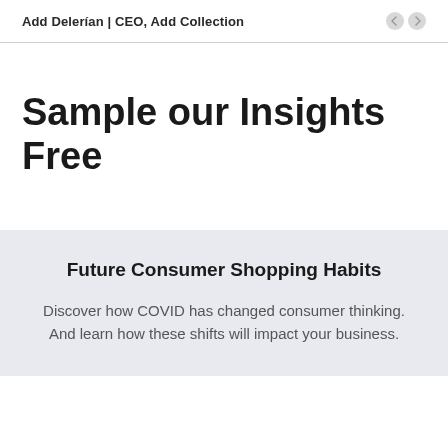Add Delerían | CEO, Add Collection
Sample our Insights Free
Future Consumer Shopping Habits
Discover how COVID has changed consumer thinking. And learn how these shifts will impact your business.